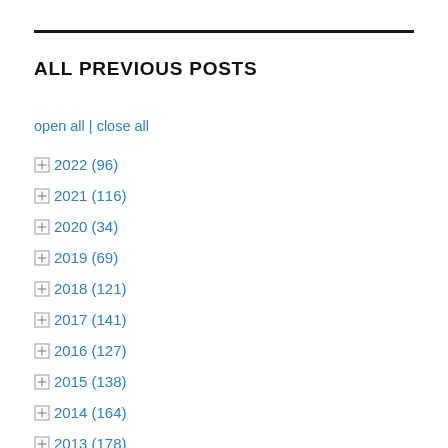ALL PREVIOUS POSTS
open all | close all
2022 (96)
2021 (116)
2020 (34)
2019 (69)
2018 (121)
2017 (141)
2016 (127)
2015 (138)
2014 (164)
2013 (178)
2012 (186)